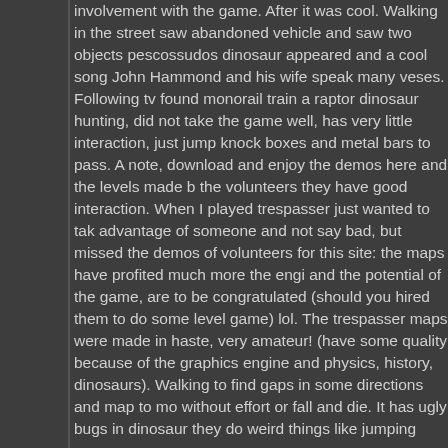involvement with the game. After it was cool. Walking in the street saw abandoned vehicles and saw two objects pescossudos dinosaur appeared and a cool song John Hammond and his wife speak many veses. Following tv found monorail train a raptor dinosaur hunting, did not take the game well, has very little interaction, just jump knock boxes and metal bars to pass. A note, download and enjoy the demos here and the levels made by the volunteers they have good interaction. When I played trespasser just wanted to take advantage of someone and not say bad, but missed the demos of volunteers for this site: the maps have profited much more the engine and the potential of the game, are to be congratulated (should you hired them to do some level game) lol. The trespasser maps were made in haste, very amateur! (have some quality because of the graphics engine and physics, history, dinosaurs). Walking to find gaps in some directions and map to move without effort or fall and die. It has ugly bugs in dinosaur they do weird things like jumping into...